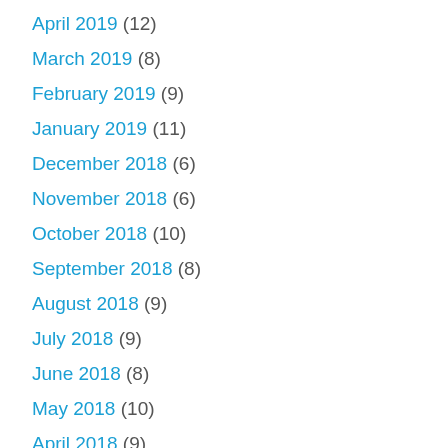April 2019 (12)
March 2019 (8)
February 2019 (9)
January 2019 (11)
December 2018 (6)
November 2018 (6)
October 2018 (10)
September 2018 (8)
August 2018 (9)
July 2018 (9)
June 2018 (8)
May 2018 (10)
April 2018 (9)
March 2018 (8)
February 2018 (9)